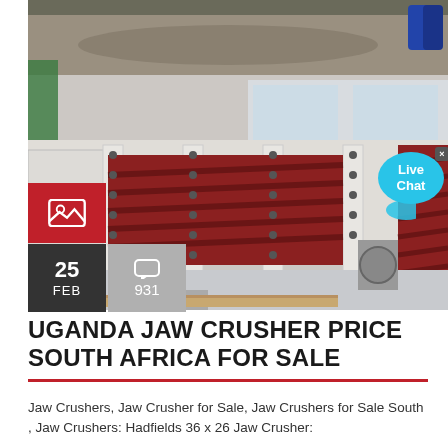[Figure (photo): Industrial jaw crusher equipment photographed in a factory/warehouse setting. Shows heavy red and white metal crushing machinery with ribbed steel plates. Background shows dirt/gravel area at top and factory interior below.]
UGANDA JAW CRUSHER PRICE SOUTH AFRICA FOR SALE
Jaw Crushers, Jaw Crusher for Sale, Jaw Crushers for Sale South , Jaw Crushers: Hadfields 36 x 26 Jaw Crusher: